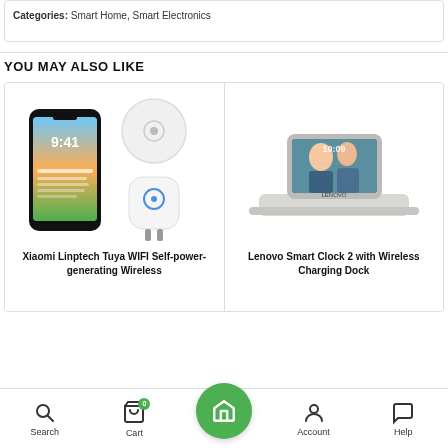Categories: Smart Home, Smart Electronics
YOU MAY ALSO LIKE
[Figure (photo): Product image of Xiaomi Linptech Tuya WIFI Self-power-generating Wireless device showing a smartphone, a circular sensor, and a plug adapter]
Xiaomi Linptech Tuya WIFI Self-power-generating Wireless
[Figure (photo): Product image of Lenovo Smart Clock 2 with Wireless Charging Dock, a smart display device with clock showing 10:09 on a fabric-covered dock]
Lenovo Smart Clock 2 with Wireless Charging Dock
Search  Cart  Home  Account  Help